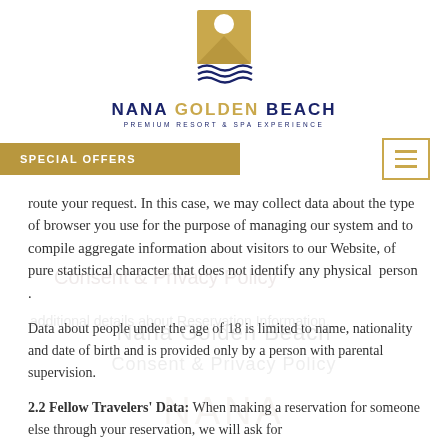[Figure (logo): Nana Golden Beach resort logo — gold and navy wave/sun emblem above brand name]
NANA GOLDEN BEACH
PREMIUM RESORT & SPA EXPERIENCE
SPECIAL OFFERS
route your request. In this case, we may collect data about the type of browser you use for the purpose of managing our system and to compile aggregate information about visitors to our Website, of pure statistical character that does not identify any physical person .
Data about people under the age of 18 is limited to name, nationality and date of birth and is provided only by a person with parental supervision.
2.2 Fellow Travelers' Data: When making a reservation for someone else through your reservation, we will ask for